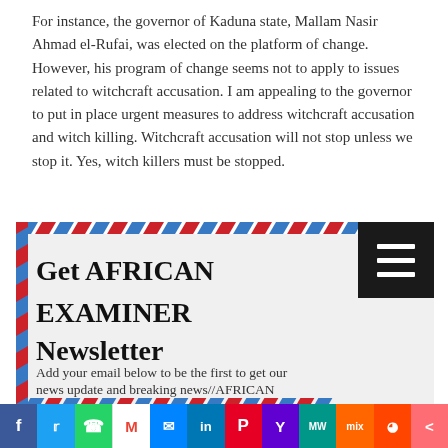For instance, the governor of Kaduna state, Mallam Nasir Ahmad el-Rufai, was elected on the platform of change. However, his program of change seems not to apply to issues related to witchcraft accusation. I am appealing to the governor to put in place urgent measures to address witchcraft accusation and witch killing. Witchcraft accusation will not stop unless we stop it. Yes, witch killers must be stopped.
[Figure (other): Newsletter signup card with airmail-style diagonal stripe border. Contains bold heading 'Get AFRICAN EXAMINER Newsletter' and subtext 'Add your email below to be the first to get our news update and breaking news//AFRICAN'. A dark menu icon button is in the top-right corner.]
[Figure (other): Social media sharing bar with icons for Facebook, Twitter, WhatsApp, Gmail, Messenger, LinkedIn, Pinterest, Yahoo, MeWe, Mix, Reddit, and a share icon.]